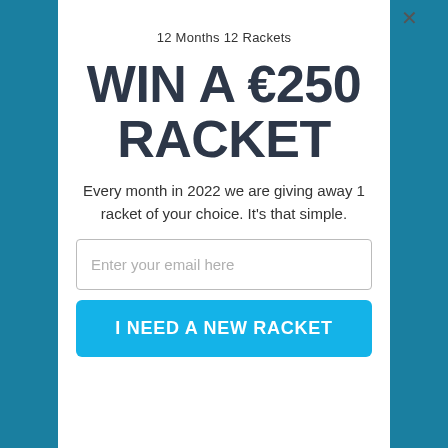12 Months 12 Rackets
WIN A €250 RACKET
Every month in 2022 we are giving away 1 racket of your choice. It's that simple.
Enter your email here
I NEED A NEW RACKET